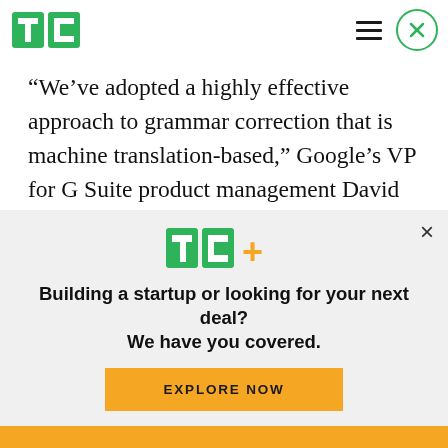TechCrunch header with logo, hamburger menu, and close button
“We’ve adopted a highly effective approach to grammar correction that is machine translation-based,” Google’s VP for G Suite product management David Thacker said in a press briefing ahead of the announcement. “For example, in language translation, you take a language like French and translate it into English. Our approach
[Figure (logo): TechCrunch TC+ logo in green and yellow]
Building a startup or looking for your next deal? We have you covered.
EXPLORE NOW